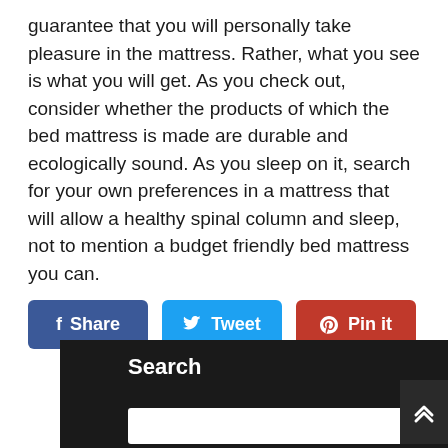guarantee that you will personally take pleasure in the mattress. Rather, what you see is what you will get. As you check out, consider whether the products of which the bed mattress is made are durable and ecologically sound. As you sleep on it, search for your own preferences in a mattress that will allow a healthy spinal column and sleep, not to mention a budget friendly bed mattress you can.
[Figure (other): Social sharing buttons: Facebook Share (blue), Twitter Tweet (light blue), Pinterest Pin it (red)]
Search